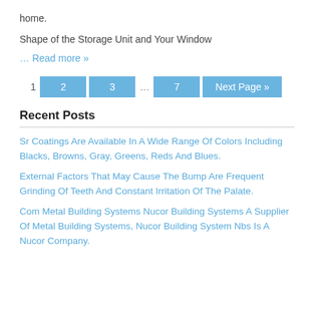home.
Shape of the Storage Unit and Your Window
… Read more »
1  2  3  …  7  Next Page »
Recent Posts
Sr Coatings Are Available In A Wide Range Of Colors Including Blacks, Browns, Gray, Greens, Reds And Blues.
External Factors That May Cause The Bump Are Frequent Grinding Of Teeth And Constant Irritation Of The Palate.
Com Metal Building Systems Nucor Building Systems A Supplier Of Metal Building Systems, Nucor Building System Nbs Is A Nucor Company.